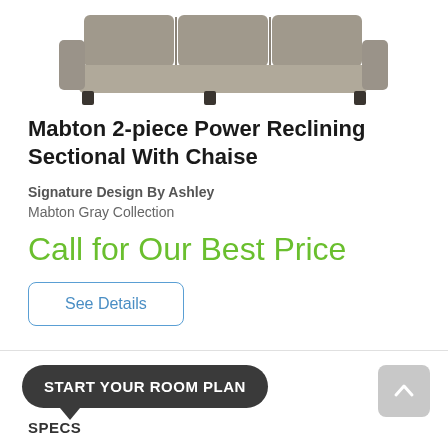[Figure (photo): Partial product photo of Mabton 2-piece Power Reclining Sectional With Chaise in gray color, showing top/back portion of the sofa]
Mabton 2-piece Power Reclining Sectional With Chaise
Signature Design By Ashley
Mabton Gray Collection
Call for Our Best Price
See Details
START YOUR ROOM PLAN
SPECS